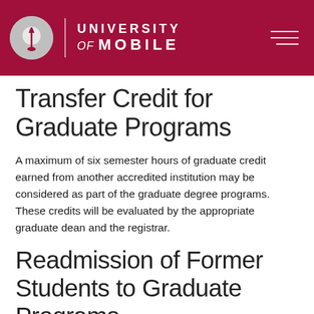University of Mobile
Transfer Credit for Graduate Programs
A maximum of six semester hours of graduate credit earned from another accredited institution may be considered as part of the graduate degree programs. These credits will be evaluated by the appropriate graduate dean and the registrar.
Readmission of Former Students to Graduate Programs
A student must apply for readmission if he or she has